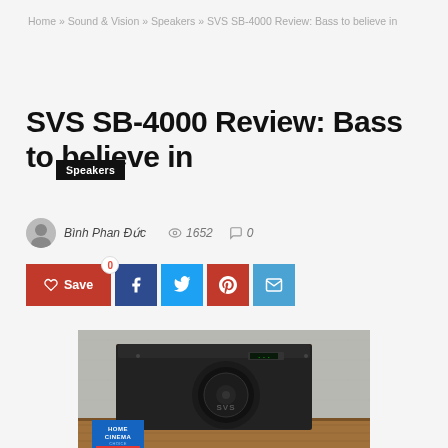Home » Sound & Vision » Speakers » SVS SB-4000 Review: Bass to believe in
Speakers
SVS SB-4000 Review: Bass to believe in
Bình Phan Đức   1652   0
[Figure (infographic): Social share buttons: Save (red), Facebook (dark blue), Twitter (light blue), Pinterest (red), Email (blue)]
[Figure (photo): SVS SB-4000 subwoofer with walnut wood finish sides and black front, sitting on wooden floor against concrete wall. Home Cinema Best Buy badge visible.]